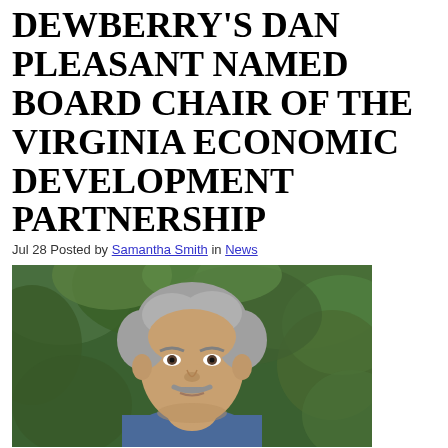DEWBERRY'S DAN PLEASANT NAMED BOARD CHAIR OF THE VIRGINIA ECONOMIC DEVELOPMENT PARTNERSHIP
Jul 28 Posted by Samantha Smith in News
[Figure (photo): Portrait photo of a middle-aged man with gray hair and a mustache, wearing a blue shirt, photographed outdoors with green foliage in the background.]